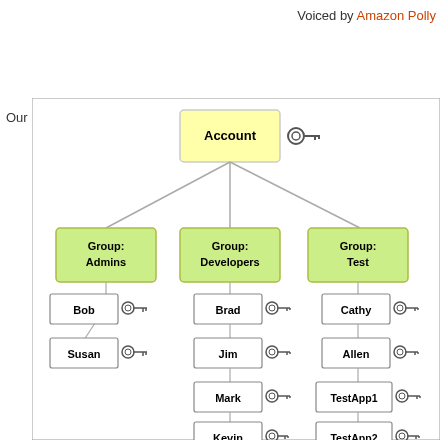Voiced by Amazon Polly
Our
[Figure (organizational-chart): AWS IAM organizational chart showing an Account at the top (with key icon), branching to three groups: Group: Admins, Group: Developers, and Group: Test. Admins has users Bob and Susan. Developers has users Brad, Jim, Mark, Kevin, and DevApp1. Test has Cathy, Allen, TestApp1, and TestApp2. Each user/app has a key icon.]